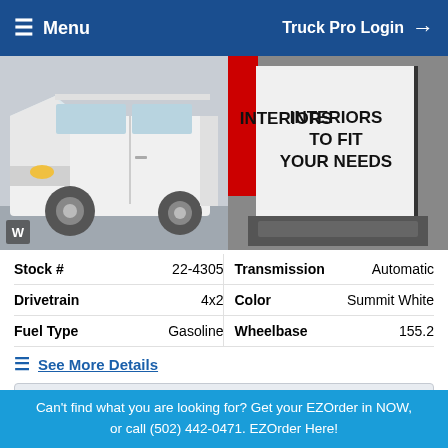Menu   Truck Pro Login
[Figure (photo): White cargo van, front-left side view in a gray lot, with small W watermark at bottom-left]
[Figure (photo): Rear interior of van with bold text reading INTERIORS TO FIT YOUR NEEDS]
| Field | Value | Field | Value |
| --- | --- | --- | --- |
| Stock # | 22-4305 | Transmission | Automatic |
| Drivetrain | 4x2 | Color | Summit White |
| Fuel Type | Gasoline | Wheelbase | 155.2 |
See More Details
Call For Pricing
I'm Interested!
Can't find what you are looking for? Get your EZOrder in NOW, or call (502) 442-0471. EZOrder Here!